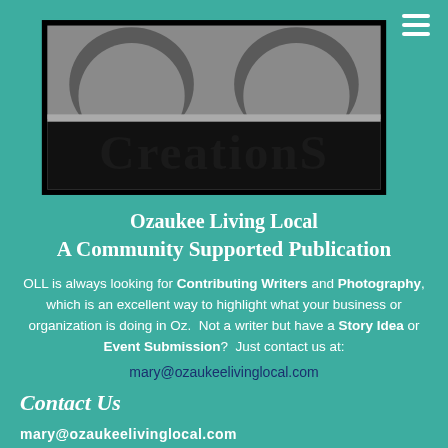[Figure (logo): Creations logo with dark background, showing 'CREATIONS' text in bold serif font on a gray/black rectangular banner with decorative arch elements above]
Ozaukee Living Local
A Community Supported Publication
OLL is always looking for Contributing Writers and Photography, which is an excellent way to highlight what your business or organization is doing in Oz.  Not a writer but have a Story Idea or Event Submission?  Just contact us at:
mary@ozaukeelivinglocal.com
Contact Us
mary@ozaukeelivinglocal.com